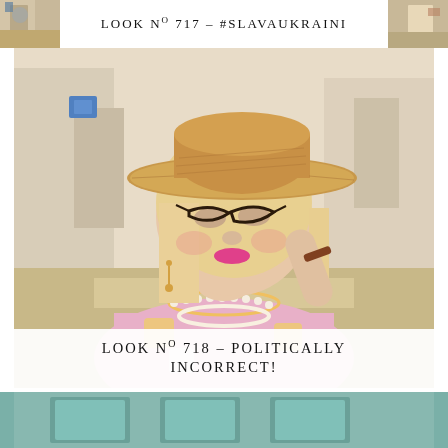LOOK Nº 717 – #SLAVAUKRAINI
[Figure (photo): A blonde woman wearing a wide-brim straw hat, cat-eye sunglasses, pink crochet top, pearl and bead necklaces, bracelets, posing outdoors against a light building background.]
LOOK Nº 718 – POLITICALLY INCORRECT!
[Figure (photo): Partial bottom strip showing a teal/turquoise colored door or surface.]